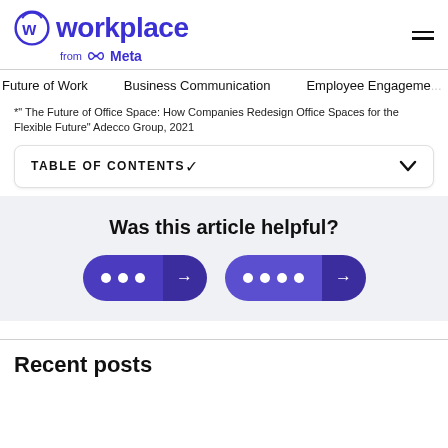workplace from Meta
Future of Work   Business Communication   Employee Engagement
*" The Future of Office Space: How Companies Redesign Office Spaces for the Flexible Future" Adecco Group, 2021
TABLE OF CONTENTS
Was this article helpful?
[Figure (other): Two purple pill-shaped buttons each with three white dots and a right-arrow icon]
Recent posts